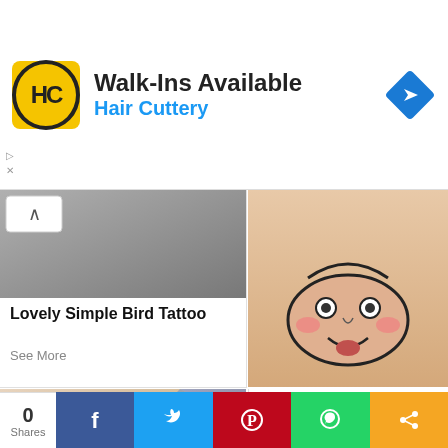[Figure (screenshot): Hair Cuttery advertisement banner with yellow HC logo, 'Walk-Ins Available' headline, 'Hair Cuttery' subtext in blue, and a blue diamond direction arrow icon]
Lovely Simple Bird Tattoo
See More
[Figure (photo): Close-up of a cartoon face tattoo on skin showing a simple smiley-style face with rosy cheeks]
[Figure (photo): Wrist tattoo of ocean waves in simple line art style on fair skin]
Unendingness Mambo Simple Tattoos
See More
[Figure (photo): Colorful realistic rose tattoo with clock and green leaves on skin]
0 Shares